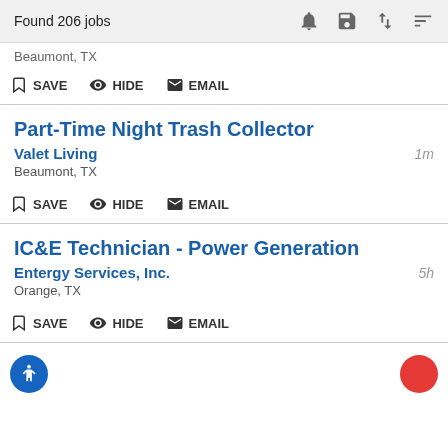Found 206 jobs
Beaumont, TX
SAVE  HIDE  EMAIL
Part-Time Night Trash Collector
Valet Living  1m
Beaumont, TX
SAVE  HIDE  EMAIL
IC&E Technician - Power Generation
Entergy Services, Inc.  5h
Orange, TX
SAVE  HIDE  EMAIL